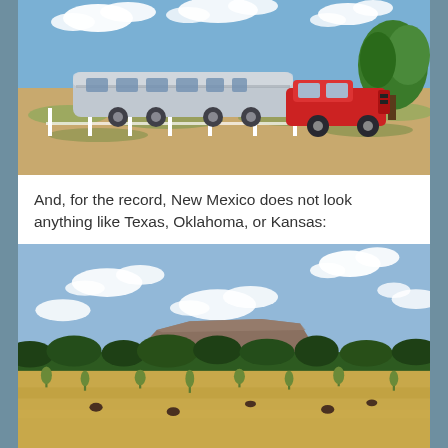[Figure (photo): A silver Airstream trailer being towed by a red SUV/truck, parked on a flat dusty landscape with green scrub grass, white fence posts, blue sky with white clouds, and a green tree on the right.]
And, for the record, New Mexico does not look anything like Texas, Oklahoma, or Kansas:
[Figure (photo): A New Mexico landscape showing a flat-topped mesa/butte in the background under a blue sky with white clouds, with dark green trees in the middle distance and a golden-brown open field in the foreground with scattered low desert plants and cattle.]